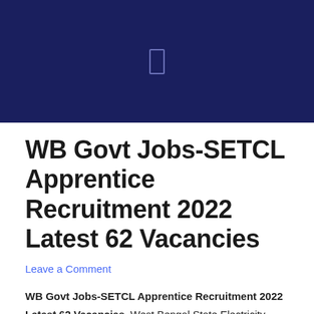[Figure (other): Dark navy blue header banner with a small rectangular icon in the center]
WB Govt Jobs-SETCL Apprentice Recruitment 2022 Latest 62 Vacancies
Leave a Comment
WB Govt Jobs-SETCL Apprentice Recruitment 2022 Latest 62 Vacancies. West Bengal State Electricity Distribution Company Limited published a recruitment notification on their official website